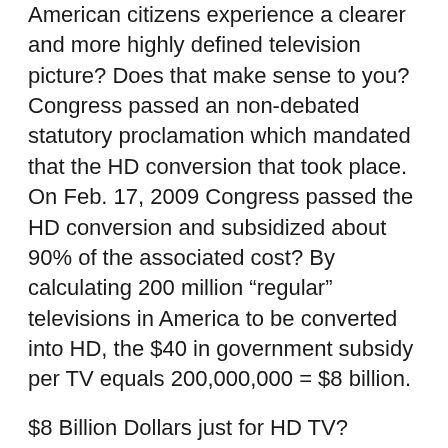American citizens experience a clearer and more highly defined television picture? Does that make sense to you? Congress passed an non-debated statutory proclamation which mandated that the HD conversion that took place. On Feb. 17, 2009 Congress passed the HD conversion and subsidized about 90% of the associated cost? By calculating 200 million “regular” televisions in America to be converted into HD, the $40 in government subsidy per TV equals 200,000,000 = $8 billion.
$8 Billion Dollars just for HD TV? Humanity all over the world is hypnotically glued to their TV, it is the most sinister addiction befallen mankind. The High Definition technology emphasizes suggestive subliminal ideas and images that broadcasts Pulse Images that emit pulsed electromagnetic fields.
1. The technology called FMRI (Functional Magnetic Resonance) is old and archaic actually. Mengele and others